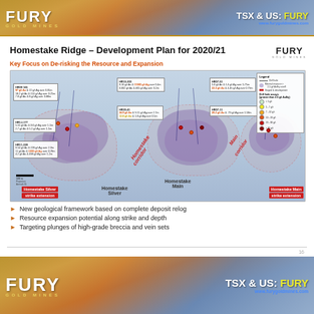FURY GOLD MINES | TSX & US: FURY | www.furygoldmines.com
Homestake Ridge – Development Plan for 2020/21
Key Focus on De-risking the Resource and Expansion
[Figure (map): Geological map of Homestake Ridge showing drill holes, mineral resource outlines, and three main zones: Homestake Silver (left), Homestake Main (center), and Homestake Main strike extension (right). Multiple drill hole annotations with gold and silver intercept values are labeled. Legend shows drill hole assay grades from <1 g/t to >30 g/t.]
New geological framework based on complete deposit relog
Resource expansion potential along strike and depth
Targeting plunges of high-grade breccia and vein sets
16
FURY GOLD MINES | TSX & US: FURY | www.furygoldmines.com